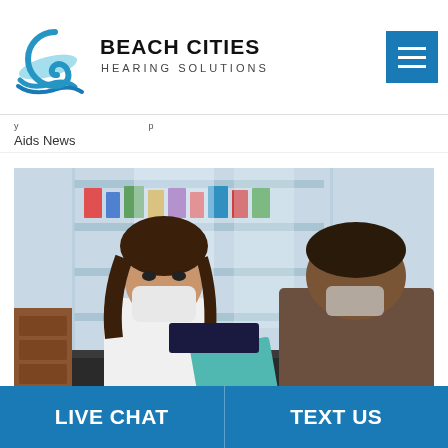[Figure (logo): Beach Cities Hearing Solutions logo with blue wave/swirl icon and company name text]
Aids News
[Figure (photo): Pharmacy scene: female pharmacist in white coat and face mask handing a teal package to a male customer wearing a mask, shelves of medications in background]
LIVE CHAT
TEXT US